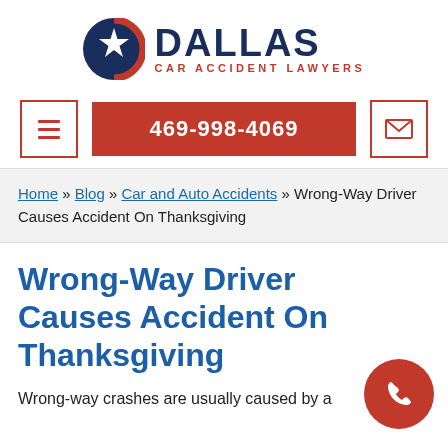[Figure (logo): Dallas Car Accident Lawyers logo with Texas star circle and text]
469-998-4069
Home » Blog » Car and Auto Accidents » Wrong-Way Driver Causes Accident On Thanksgiving
Wrong-Way Driver Causes Accident On Thanksgiving
Wrong-way crashes are usually caused by a